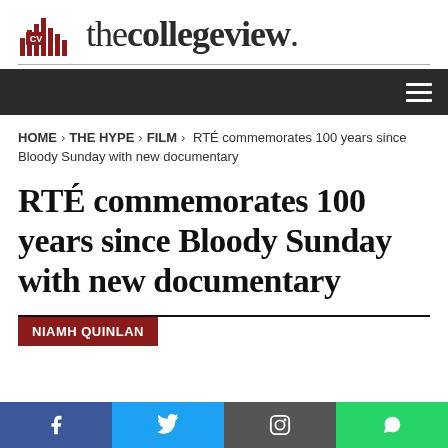the college view.
HOME > THE HYPE > FILM > RTÉ commemorates 100 years since Bloody Sunday with new documentary
RTÉ commemorates 100 years since Bloody Sunday with new documentary
NIAMH QUINLAN